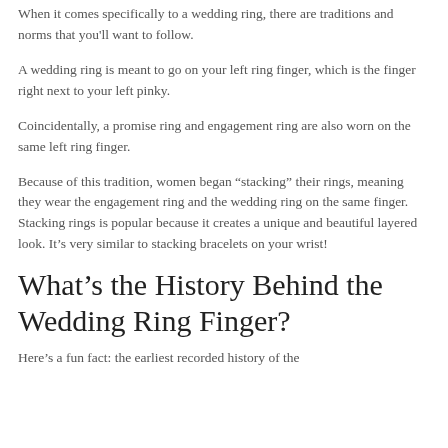When it comes specifically to a wedding ring, there are traditions and norms that you'll want to follow.
A wedding ring is meant to go on your left ring finger, which is the finger right next to your left pinky.
Coincidentally, a promise ring and engagement ring are also worn on the same left ring finger.
Because of this tradition, women began “stacking” their rings, meaning they wear the engagement ring and the wedding ring on the same finger. Stacking rings is popular because it creates a unique and beautiful layered look. It’s very similar to stacking bracelets on your wrist!
What’s the History Behind the Wedding Ring Finger?
Here’s a fun fact: the earliest recorded history of the